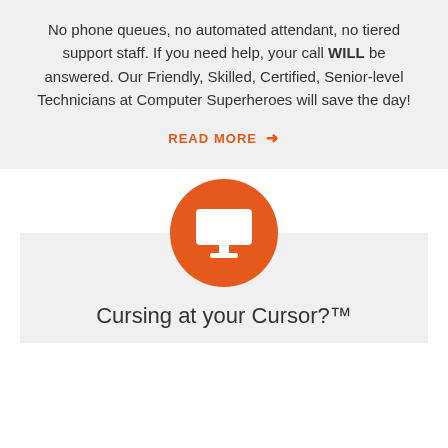No phone queues, no automated attendant, no tiered support staff. If you need help, your call WILL be answered. Our Friendly, Skilled, Certified, Senior-level Technicians at Computer Superheroes will save the day!
READ MORE →
[Figure (illustration): Orange circle icon containing a white computer monitor / desktop screen symbol]
Cursing at your Cursor?™